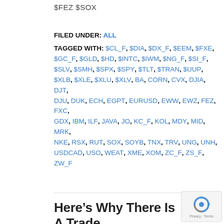$FEZ $SOX
FILED UNDER: ALL
TAGGED WITH: $CL_F, $DIA, $DX_F, $EEM, $FXE, $GC_F, $GLD, $HD, $INTC, $IWM, $NG_F, $SI_F, $SLV, $SMH, $SPX, $SPY, $TLT, $TRAN, $UUP, $XLB, $XLE, $XLU, $XLV, BA, CORN, CVX, DJIA, DJT, DJU, DUK, ECH, EGPT, EURUSD, EWW, EWZ, FEZ, FXC, GDX, IBM, ILF, JAVA, JO, KC_F, KOL, MDY, MID, MRK, NKE, RSX, RUT, SOX, SOYB, TNX, TRV, UNG, UNH, USDCAD, USO, WEAT, XME, XOM, ZC_F, ZS_F, ZW_F
Here’s Why There Is A Trade